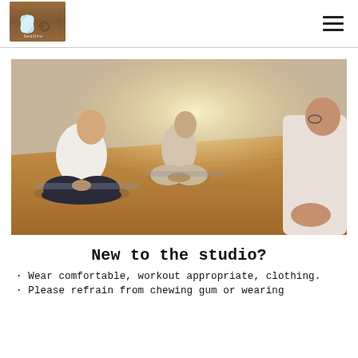Logo and navigation header
[Figure (photo): Group of people sitting cross-legged on a hardwood floor in a yoga studio, meditating with eyes closed. Shot from a low angle with warm sunlight filtering in.]
New to the studio?
· Wear comfortable, workout appropriate, clothing.
· Please refrain from chewing gum or wearing